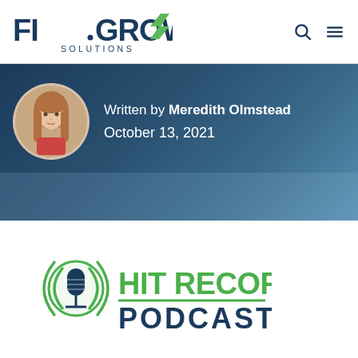[Figure (logo): FI·GROW Solutions logo with green chevron and navigation icons]
[Figure (photo): Author profile photo of Meredith Olmstead, circular cropped headshot on dark blue hero banner]
Written by Meredith Olmstead
October 13, 2021
[Figure (logo): Hit Record Podcast logo — microphone icon with green text and signal waves]